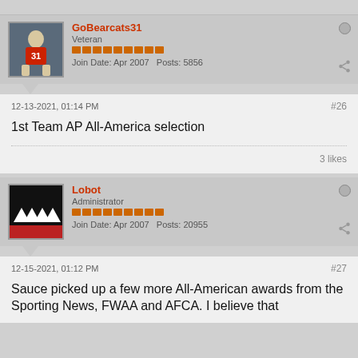GoBearcats31 — Veteran — Join Date: Apr 2007 — Posts: 5856
12-13-2021, 01:14 PM #26
1st Team AP All-America selection
3 likes
Lobot — Administrator — Join Date: Apr 2007 — Posts: 20955
12-15-2021, 01:12 PM #27
Sauce picked up a few more All-American awards from the Sporting News, FWAA and AFCA. I believe that